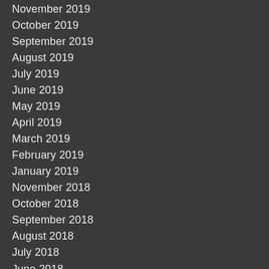November 2019
October 2019
September 2019
August 2019
July 2019
June 2019
May 2019
April 2019
March 2019
February 2019
January 2019
November 2018
October 2018
September 2018
August 2018
July 2018
June 2018
May 2018
April 2018
March 2018
February 2018